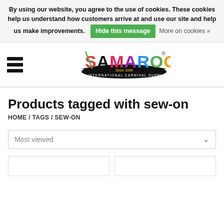By using our website, you agree to the use of cookies. These cookies help us understand how customers arrive at and use our site and help us make improvements. Hide this message   More on cookies »
[Figure (logo): Samaroo's The International Carnival Supplier logo with colorful letters and ribbon design]
Products tagged with sew-on
HOME / TAGS / SEW-ON
Most viewed